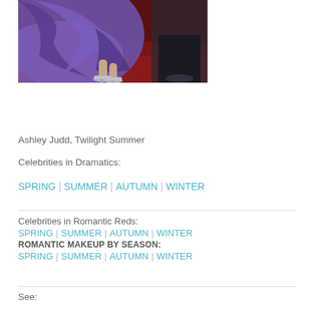[Figure (photo): Close-up photo of a woman in a purple/blue gown on a red carpet, showing the lower portion of the dress and silver strappy heeled sandals. Another person in dark clothing is partially visible.]
Ashley Judd, Twilight Summer
Celebrities in Dramatics:
SPRING | SUMMER | AUTUMN | WINTER
Celebrities in Romantic Reds: SPRING | SUMMER | AUTUMN | WINTER ROMANTIC MAKEUP BY SEASON: SPRING | SUMMER | AUTUMN | WINTER
See: